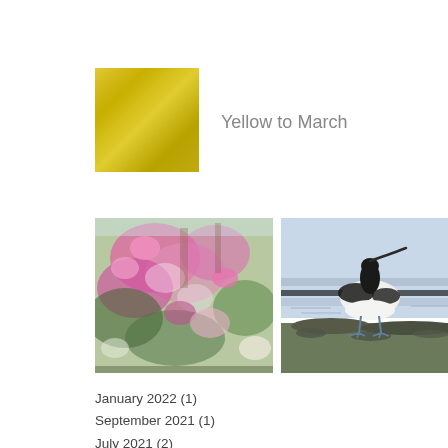[Figure (illustration): Gold/yellow metallic color swatch square]
Yellow to March
[Figure (photo): Three thumbnail images side by side: a colorful floral painting with pink and green flowers, a painting of a black and white wading bird (avocet) on rocks by the sea, and a partial image of pink and white flowers on the right edge.]
January 2022 (1)
September 2021 (1)
July 2021 (2)
June 2021 (1)
April 2021 (2)
March 2021 (3)
November 2020 (3)
October 2020 (2)